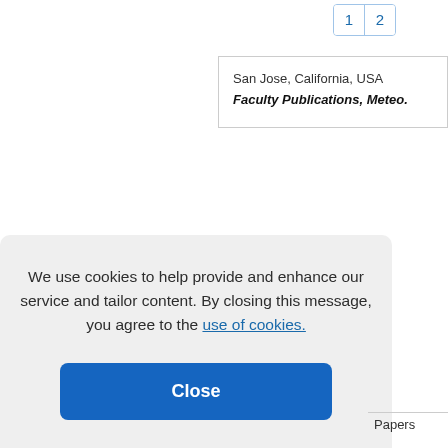1 2
San Jose, California, USA
Faculty Publications, Meteo.
We use cookies to help provide and enhance our service and tailor content. By closing this message, you agree to the use of cookies.
Close
Papers